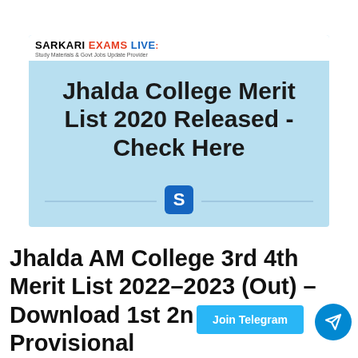[Figure (screenshot): Sarkari Exams Live banner image with light blue background showing 'Jhalda College Merit List 2020 Released - Check Here' in bold black text, with the Sarkari Exams Live logo in top left and an S icon at the bottom center]
Jhalda AM College 3rd 4th Merit List 2022-2023 (Out) – Download 1st 2nd 5th UG Provisional